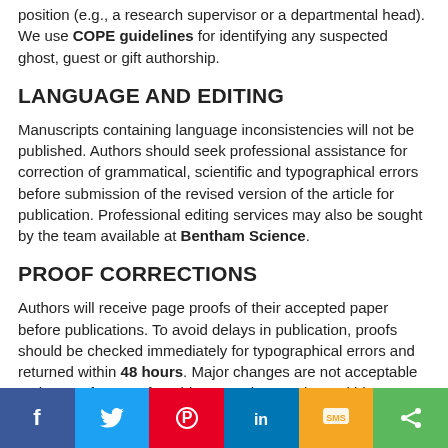position (e.g., a research supervisor or a departmental head). We use COPE guidelines for identifying any suspected ghost, guest or gift authorship.
LANGUAGE AND EDITING
Manuscripts containing language inconsistencies will not be published. Authors should seek professional assistance for correction of grammatical, scientific and typographical errors before submission of the revised version of the article for publication. Professional editing services may also be sought by the team available at Bentham Science.
PROOF CORRECTIONS
Authors will receive page proofs of their accepted paper before publications. To avoid delays in publication, proofs should be checked immediately for typographical errors and returned within 48 hours. Major changes are not acceptable at the proof stage. If unable to send corrections within 48 hours due to some reason, the author(s) must at least send an acknowledgement on receiving the galley proofs or the article will be published exactly as received and the publishers will not be responsible for any error occurring in the published manuscript in this regard.
[Figure (infographic): Social media sharing bar with Facebook, Twitter, Pinterest, LinkedIn, SMS, and Share buttons]